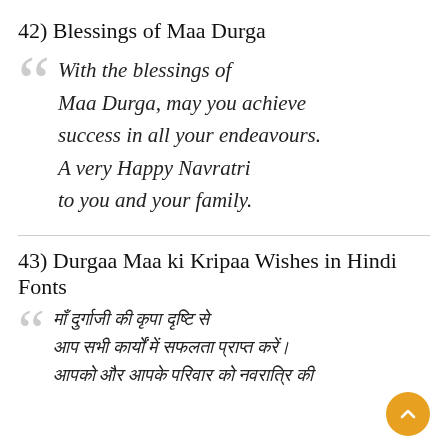42) Blessings of Maa Durga
With the blessings of Maa Durga, may you achieve success in all your endeavours. A very Happy Navratri to you and your family.
43) Durgaa Maa ki Kripaa Wishes in Hindi Fonts
माँ दुर्गा के आशीर्वाद से आप सभी कार्यों में सफलता प्राप्त करें। आपको और आपके परिवार को नवरात्रि की शुभकामनाएं।